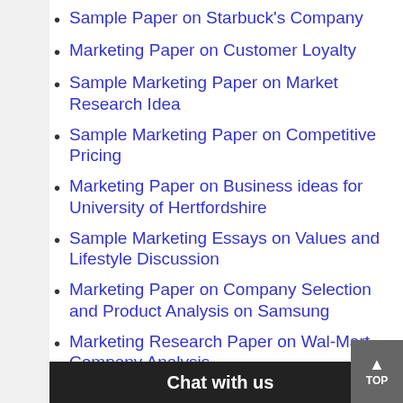Sample Paper on Starbuck's Company
Marketing Paper on Customer Loyalty
Sample Marketing Paper on Market Research Idea
Sample Marketing Paper on Competitive Pricing
Marketing Paper on Business ideas for University of Hertfordshire
Sample Marketing Essays on Values and Lifestyle Discussion
Marketing Paper on Company Selection and Product Analysis on Samsung
Marketing Research Paper on Wal-Mart Company Analysis
Sample Marketing … on Sta…